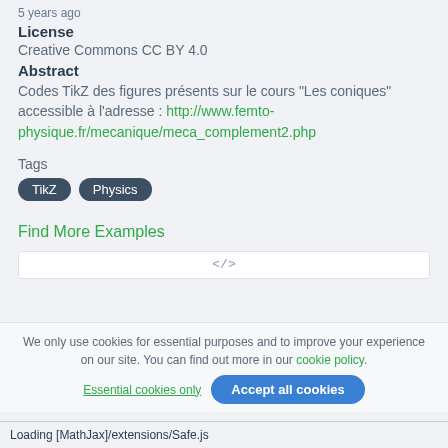5 years ago
License
Creative Commons CC BY 4.0
Abstract
Codes TikZ des figures présents sur le cours "Les coniques" accessible à l'adresse : http://www.femto-physique.fr/mecanique/meca_complement2.php
Tags
TikZ
Physics
Find More Examples
We only use cookies for essential purposes and to improve your experience on our site. You can find out more in our cookie policy.
Essential cookies only   Accept all cookies
Loading [MathJax]/extensions/Safe.js